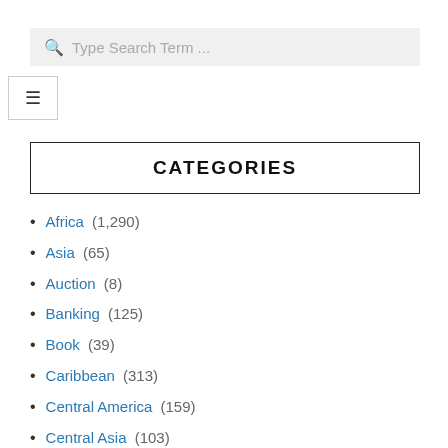[Figure (screenshot): Search bar with magnifying glass icon and placeholder text 'Type Search Term ...' on a light grey background]
[Figure (other): Hamburger menu icon (three horizontal lines) inside a bordered box]
CATEGORIES
Africa (1,290)
Asia (65)
Auction (8)
Banking (125)
Book (39)
Caribbean (313)
Central America (159)
Central Asia (103)
Challenge (27)
Commemorative (301)